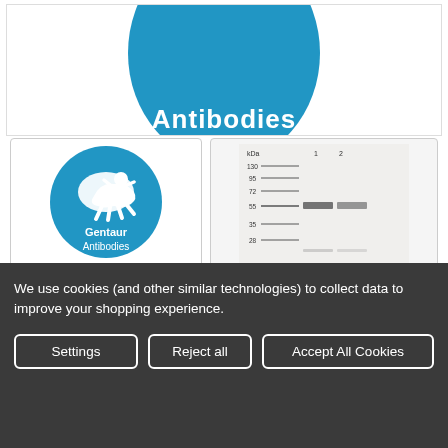[Figure (logo): Partially visible blue circle at top with white text 'Antibodies' visible, representing Gentaur Antibodies logo]
[Figure (logo): Gentaur Antibodies circular blue logo with white running figure/lion and text 'Gentaur Antibodies']
[Figure (other): Western blot image showing kDa ladder markers at 130, 95, 72, 55, 35, 28 with two lanes labeled 1 and 2, showing bands at approximately 55 kDa]
AGXT Polyclonal Antibody | G-AB-01407
Gentaur Antibodies
We use cookies (and other similar technologies) to collect data to improve your shopping experience.